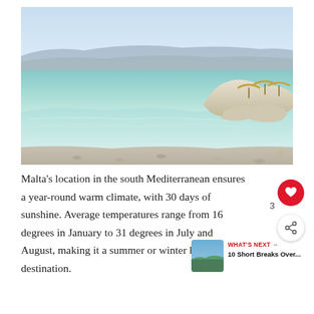[Figure (photo): Coastal Mediterranean scene with clear turquoise shallow water, a pebble and sandy shoreline, white limestone rocks in the upper right with thatched beach umbrellas, and a hazy mountain ridge across the sea in the background under a light blue sky.]
Malta's location in the south Mediterranean ensures a year-round warm climate, with 30 days of sunshine. Average temperatures range from 16 degrees in January to 31 degrees in July and August, making it a summer or winter holiday destination.